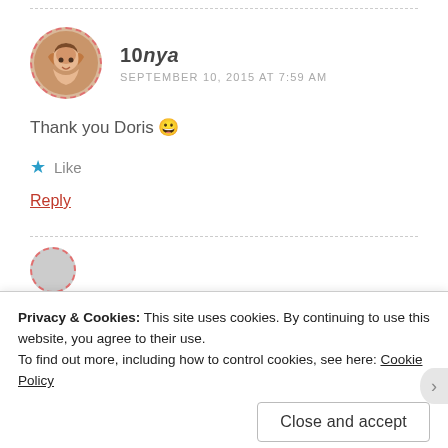10nya
SEPTEMBER 10, 2015 AT 7:59 AM
Thank you Doris 😀
★ Like
Reply
Privacy & Cookies: This site uses cookies. By continuing to use this website, you agree to their use.
To find out more, including how to control cookies, see here: Cookie Policy
Close and accept